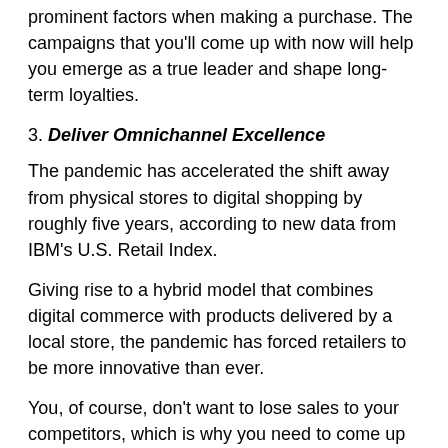prominent factors when making a purchase. The campaigns that you'll come up with now will help you emerge as a true leader and shape long-term loyalties.
3. Deliver Omnichannel Excellence
The pandemic has accelerated the shift away from physical stores to digital shopping by roughly five years, according to new data from IBM's U.S. Retail Index.
Giving rise to a hybrid model that combines digital commerce with products delivered by a local store, the pandemic has forced retailers to be more innovative than ever.
You, of course, don't want to lose sales to your competitors, which is why you need to come up with unique product offers and leverage digital channels to drive store traffic and vice versa.
Buy online, pick up in-store (BOPIS) brings consumers instant satisfaction of receiving their product without having to unnecessarily wait. That's perhaps the reason why BOPIS surged 259% YoY in August 2020, according to ROI